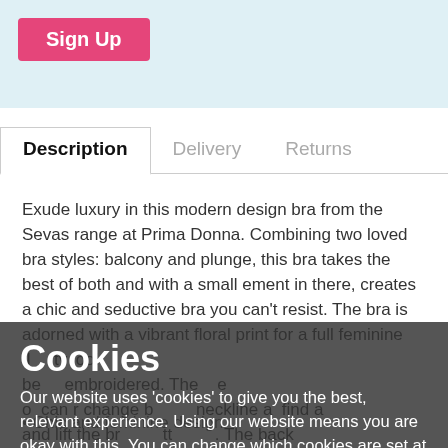[Figure (other): Sign Up button on a light blue background]
Description | Delivery | Returns
Exude luxury in this modern design bra from the Sevas range at Prima Donna. Combining two loved bra styles: balcony and plunge, this bra takes the best of both and with a small ement in there, creates a chic and seductive bra you can't resist. The bra is adorned with a vibrant floral print for a full feminine fl ty look embroidered. The there o can r change b neckline a and lift the br information. The back r fuss-free wear and features a long hook and eye closure which allows for more supportive wear.
Cookies
Our website uses 'cookies' to give you the best, relevant experience. Using our website means you are okay with this. You can change which cookies are set at any time - and find out more about them - by reading our Cookie Policy information.
OK, I understand and agree
Chic and feminine design